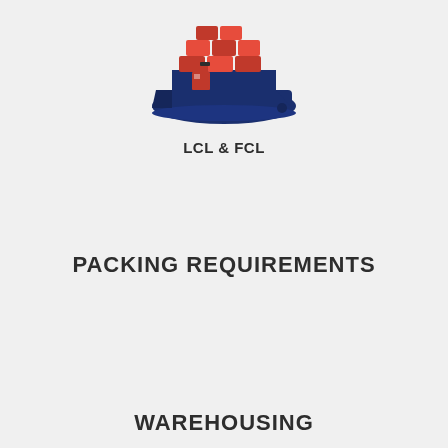[Figure (logo): Cargo ship icon with red containers on top and dark blue hull, representing LCL & FCL shipping services]
LCL & FCL
PACKING REQUIREMENTS
WAREHOUSING